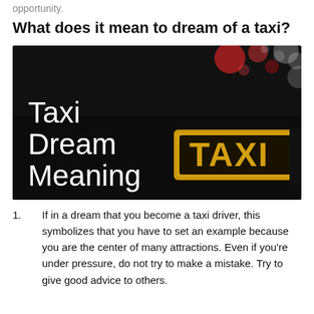opportunity.
What does it mean to dream of a taxi?
[Figure (photo): Dark background photo showing a taxi sign with the words 'Taxi Dream Meaning' in white text on the left and a yellow TAXI sign on the right]
If in a dream that you become a taxi driver, this symbolizes that you have to set an example because you are the center of many attractions. Even if you're under pressure, do not try to make a mistake. Try to give good advice to others.